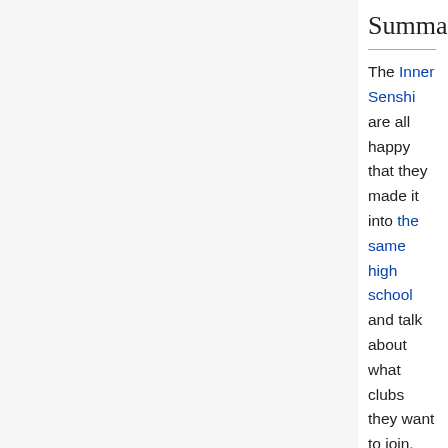Summary [edit]
The Inner Senshi are all happy that they made it into the same high school and talk about what clubs they want to join. They bid farewell to Chibiusa, who is headed back to Crystal Tokyo, and she leaves with Usagi and Mamoru for the park.
When they arrive at the park, they find a crowd gathered there to watch a rare solar eclipse. As they watch the event, though, Usagi and Chibiusa see a white Pegasus who asks for their help, then disappears. When they exclaim over it, Mamoru says that he also saw it for just a moment.
Elsewhere, the other girls watch the eclipse and discuss their dreams for the future.